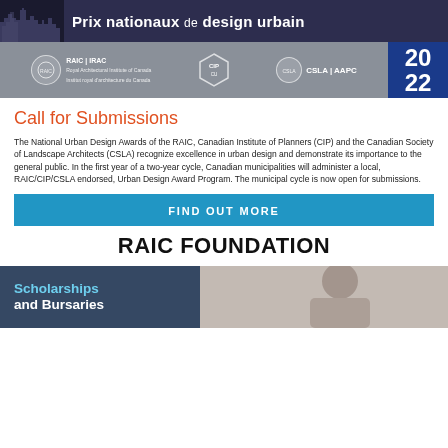[Figure (illustration): Header banner showing city skyline silhouette on left and 'Prix nationaux de design urbain' title text on dark background]
[Figure (logo): Organization logos bar: RAIC|IRAC, CIP+CU (hexagon logo), CSLA|AAPC, and '2022' year box in blue]
Call for Submissions
The National Urban Design Awards of the RAIC, Canadian Institute of Planners (CIP) and the Canadian Society of Landscape Architects (CSLA) recognize excellence in urban design and demonstrate its importance to the general public. In the first year of a two-year cycle, Canadian municipalities will administer a local, RAIC/CIP/CSLA endorsed, Urban Design Award Program. The municipal cycle is now open for submissions.
FIND OUT MORE
RAIC FOUNDATION
[Figure (photo): Photo of a person (woman with hair in bun) with text overlay 'Scholarships and Bursaries' on dark blue background on left side]